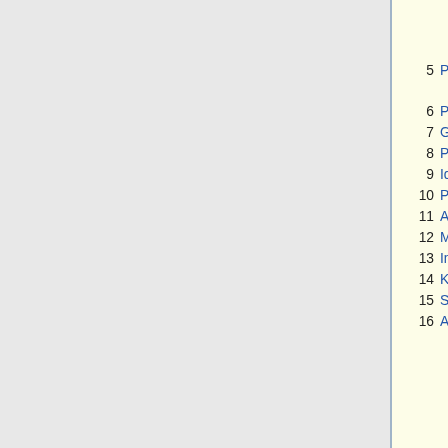4.2  Tunnel mode
4.3  Encryption algorithms
4.4  Hardware acceleration
5  Policies
5.1  Statistics
6  Proposals
7  Groups
8  Peers
9  Identities
10  Profiles
11  Active Peers
12  Mode configs
13  Installed SAs
14  Keys
15  Settings
16  Application Guides
16.1  RoadWarrior client with NAT
16.2  Simple mutual PSK XAuth configuration
16.3  Allow only IPsec encapsulated traffic
16.3.1  IPsec policy matcher
16.3.2  Using generic IPsec